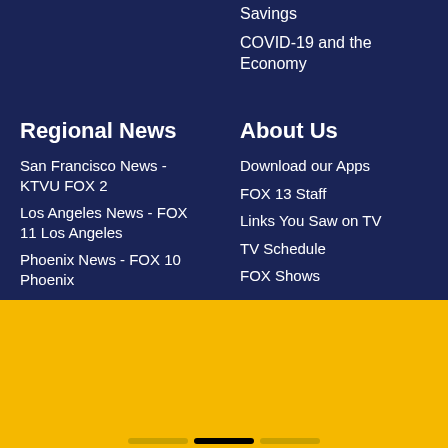Savings
COVID-19 and the Economy
Regional News
San Francisco News - KTVU FOX 2
Los Angeles News - FOX 11 Los Angeles
Phoenix News - FOX 10 Phoenix
About Us
Download our Apps
FOX 13 Staff
Links You Saw on TV
TV Schedule
FOX Shows
NEWS ALERT
[Figure (photo): Heat advisory weather map showing orange highlighted region with HOT text overlay]
Scorching end to August as Heat Advisory goes into effect
Get the FOX 13 Seattle Weather App
Download Now